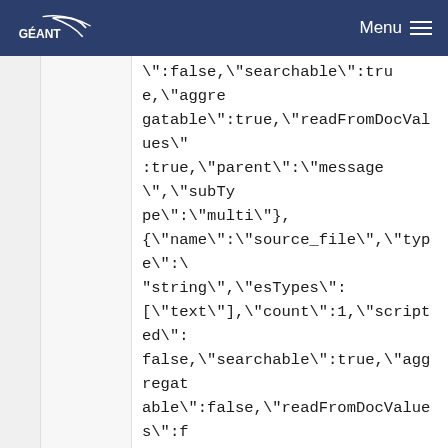GÉANT Menu
":false,\"searchable\":true,\"aggregatable\":true,\"readFromDocValues\":true,\"parent\":\"message\",\"subType\":\"multi\"},
{\"name\":\"source_file\",\"type\":\"string\",\"esTypes\":[\"text\"],\"count\":1,\"scripted\":false,\"searchable\":true,\"aggregatable\":false,\"readFromDocValues\":false},
{\"name\":\"source_file.keyword\",\"type\":\"string\",\"esTypes\":[\"keyword\"],\"count\":0,\"scripted\":false,\"searchable\":true,\"aggregatable\":true,\"readFromDocValues\":true,\"parent\":\"source_file\",\"subType\":\"multi\"},
{\"name\":\"source_host\",\"type\":\"string\",\"esTypes\":[\"text\"],\"count\":1,\"scripted\":false,\"searchable\":true,\"aggregat